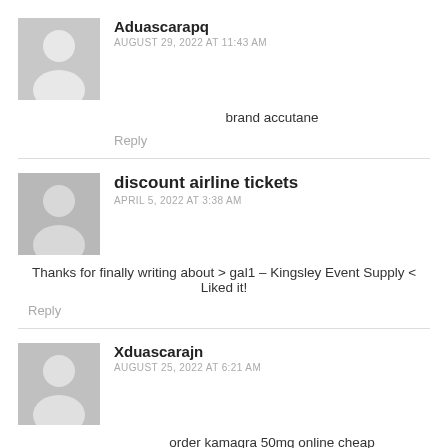Aduascarapq
AUGUST 29, 2022 AT 11:43 AM
brand accutane
Reply
discount airline tickets
APRIL 5, 2022 AT 3:38 AM
Thanks for finally writing about > gal1 – Kingsley Event Supply < Liked it!
Reply
Xduascarajn
AUGUST 25, 2022 AT 6:21 AM
order kamagra 50mg online cheap
Reply